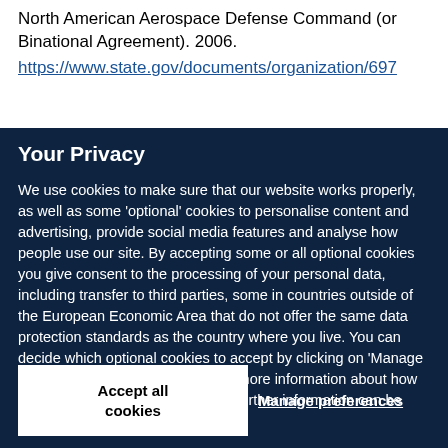North American Aerospace Defense Command (or Binational Agreement). 2006.
https://www.state.gov/documents/organization/697
Your Privacy
We use cookies to make sure that our website works properly, as well as some ‘optional’ cookies to personalise content and advertising, provide social media features and analyse how people use our site. By accepting some or all optional cookies you give consent to the processing of your personal data, including transfer to third parties, some in countries outside of the European Economic Area that do not offer the same data protection standards as the country where you live. You can decide which optional cookies to accept by clicking on ‘Manage Settings’, where you can also find more information about how your personal data is processed. Further information can be found in our privacy policy.
Accept all cookies
Manage preferences